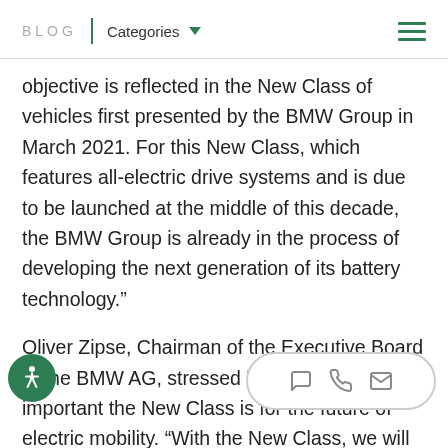BLOG | Categories
objective is reflected in the New Class of vehicles first presented by the BMW Group in March 2021. For this New Class, which features all-electric drive systems and is due to be launched at the middle of this decade, the BMW Group is already in the process of developing the next generation of its battery technology.”
Oliver Zipse, Chairman of the Executive Board of the BMW AG, stressed how tremendously important the New Class is for the future of electric mobility. “With the New Class, we will be taking a giant technological leap in the field of